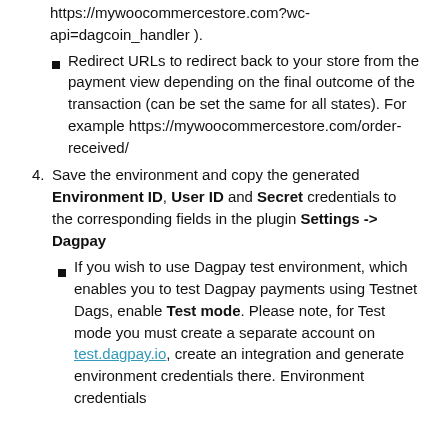https://mywoocommercestore.com?wc-api=dagcoin_handler ).
Redirect URLs to redirect back to your store from the payment view depending on the final outcome of the transaction (can be set the same for all states). For example https://mywoocommercestore.com/order-received/
4. Save the environment and copy the generated Environment ID, User ID and Secret credentials to the corresponding fields in the plugin Settings -> Dagpay
If you wish to use Dagpay test environment, which enables you to test Dagpay payments using Testnet Dags, enable Test mode. Please note, for Test mode you must create a separate account on test.dagpay.io, create an integration and generate environment credentials there. Environment credentials